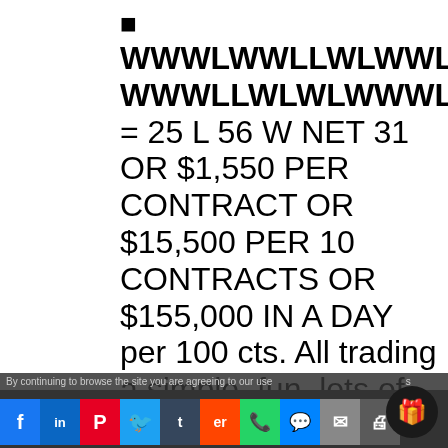■
WWWLWWLLWLWWLWWWLLWLWWWL WWWLLWLWLWWWWLWWWWWWWWWLWL = 25 L 56 W NET 31 OR $1,550 PER CONTRACT OR $15,500 PER 10 CONTRACTS OR $155,000 IN A DAY per 100 cts. All trading a simple, fun, lots of action easy way to trade and potentially CRUSH IT in the 20 min binaries. This is with an average of 50/50 reward to risk ATM NADEX
By continuing to browse the site you are agreeing to our use...